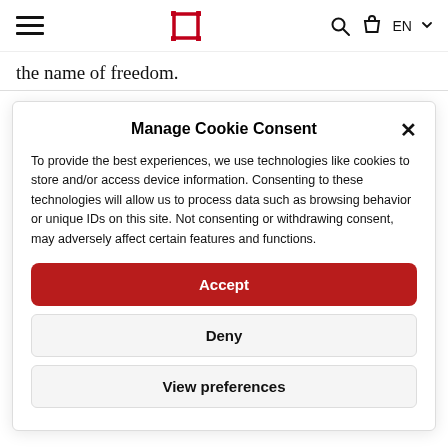Navigation bar with hamburger menu, logo, search, cart, and EN language selector
the name of freedom.
Manage Cookie Consent
To provide the best experiences, we use technologies like cookies to store and/or access device information. Consenting to these technologies will allow us to process data such as browsing behavior or unique IDs on this site. Not consenting or withdrawing consent, may adversely affect certain features and functions.
Accept
Deny
View preferences